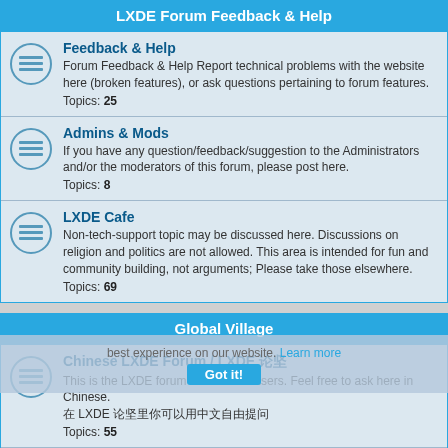LXDE Forum Feedback & Help
Feedback & Help
Forum Feedback & Help Report technical problems with the website here (broken features), or ask questions pertaining to forum features.
Topics: 25
Admins & Mods
If you have any question/feedback/suggestion to the Administrators and/or the moderators of this forum, please post here.
Topics: 8
LXDE Cafe
Non-tech-support topic may be discussed here. Discussions on religion and politics are not allowed. This area is intended for fun and community building, not arguments; Please take those elsewhere.
Topics: 69
Global Village
Chinese LXDE Forum / LXDE 论坛
This is the LXDE forum for Chinese users. Feel free to ask here in Chinese.
在 LXDE 论坛里你可以用中文自由提问
Topics: 55
Spanish LXDE Forum
This is the LXDE Forum for Spanish Users - Feel Free to ask in Spanish
Topics: 12
German language LXDE Forum / Deutschsprachiges LXDE Forum
The German language LXDE Forum. Das deutschsprachige LXDE-Forum.
Moderator: maces.